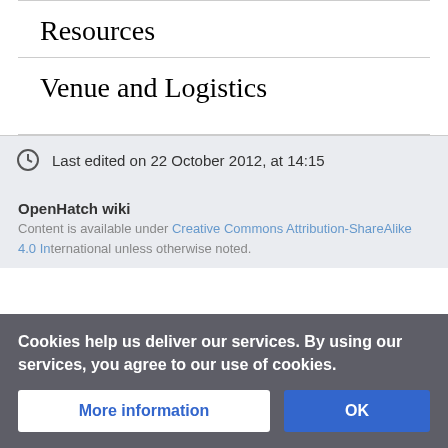Resources
Venue and Logistics
Last edited on 22 October 2012, at 14:15
OpenHatch wiki
Content is available under Creative Commons Attribution-ShareAlike 4.0 International unless otherwise noted.
Cookies help us deliver our services. By using our services, you agree to our use of cookies.
More information
OK